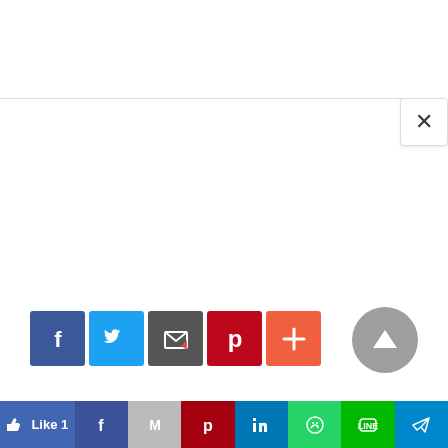[Figure (screenshot): Social media sharing widget UI with close button (×), a horizontal divider line, a row of social share icon buttons (Facebook, Twitter, Email/Flipboard, Pinterest, More), an up-arrow scroll-to-top button, and a bottom bar of share buttons (Like 1, Facebook, Gmail/M, Pinterest, LinkedIn, WhatsApp, LINE, Send/Telegram).]